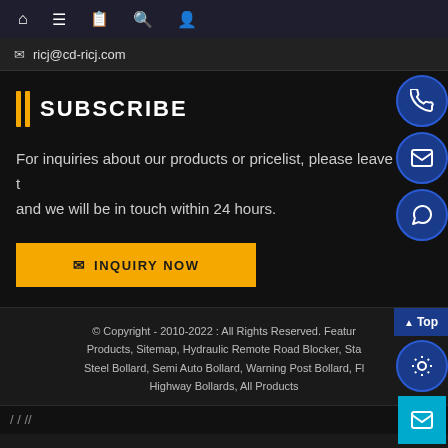ricj@cd-ricj.com
SUBSCRIBE
For inquiries about our products or pricelist, please leave t... and we will be in touch within 24 hours.
INQUIRY NOW
© Copyright - 2010-2022 : All Rights Reserved. Featured Products, Sitemap, Hydraulic Remote Road Blocker, Stainless Steel Bollard, Semi Auto Bollard, Warning Post Bollard, Flexible Highway Bollards, All Products